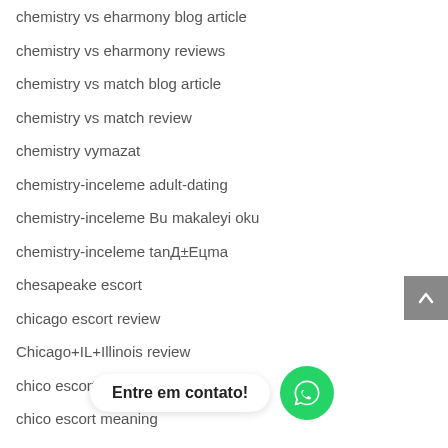chemistry vs eharmony blog article
chemistry vs eharmony reviews
chemistry vs match blog article
chemistry vs match review
chemistry vymazat
chemistry-inceleme adult-dating
chemistry-inceleme Bu makaleyi oku
chemistry-inceleme tanД±Eцma
chesapeake escort
chicago escort review
Chicago+IL+Illinois review
chico escort
chico escort meaning
Entre em contato!